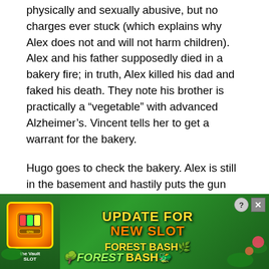physically and sexually abusive, but no charges ever stuck (which explains why Alex does not and will not harm children). Alex and his father supposedly died in a bakery fire; in truth, Alex killed his dad and faked his death. They note his brother is practically a “vegetable” with advanced Alzheimer’s. Vincent tells her to get a warrant for the bakery.
Hugo goes to check the bakery. Alex is still in the basement and hastily puts the gun back together. However, Hugo leaves soon after.
Back at the office, Vincent theorizes that if Alex cannot kill Davana, he wanted Vincent to bring her to justice. However, all their evidence is tied to Alex and the only address they have is the bakery. Hugo says there is nothing they can do in secret but his lawyer can keep Alex st...
[Figure (other): Advertisement overlay: Forest Bash - Update For New Slot game advertisement with green jungle background, slot machine icon on left, and close/help buttons in top right corner.]